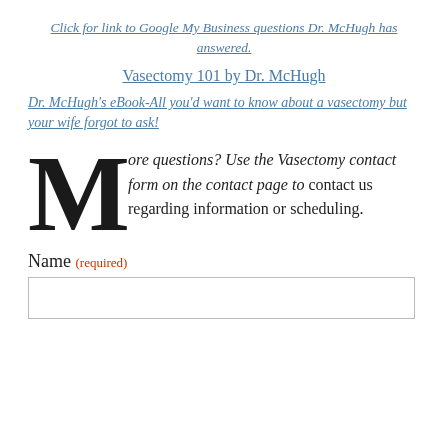Click for link to Google My Business questions Dr. McHugh has answered.
Vasectomy 101 by Dr. McHugh
Dr. McHugh's eBook-All you'd want to know about a vasectomy but your wife forgot to ask!
More questions? Use the Vasectomy contact form on the contact page to contact us regarding information or scheduling.
Name (required)
[Figure (other): Empty text input field for Name]